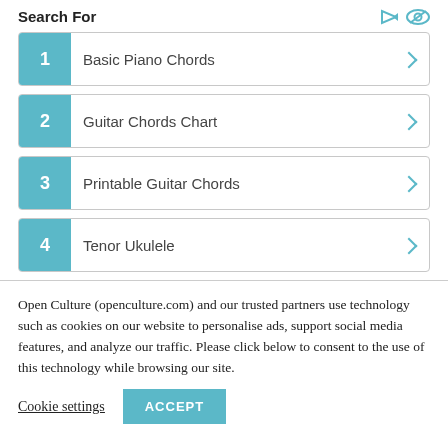Search For
1 Basic Piano Chords
2 Guitar Chords Chart
3 Printable Guitar Chords
4 Tenor Ukulele
Open Culture (openculture.com) and our trusted partners use technology such as cookies on our website to personalise ads, support social media features, and analyze our traffic. Please click below to consent to the use of this technology while browsing our site.
Cookie settings  ACCEPT